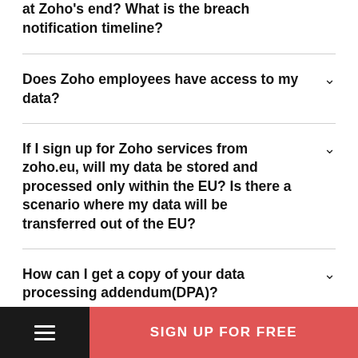at Zoho's end? What is the breach notification timeline?
Does Zoho employees have access to my data?
If I sign up for Zoho services from zoho.eu, will my data be stored and processed only within the EU? Is there a scenario where my data will be transferred out of the EU?
How can I get a copy of your data processing addendum(DPA)?
Who should I contact in case of questions...
SIGN UP FOR FREE